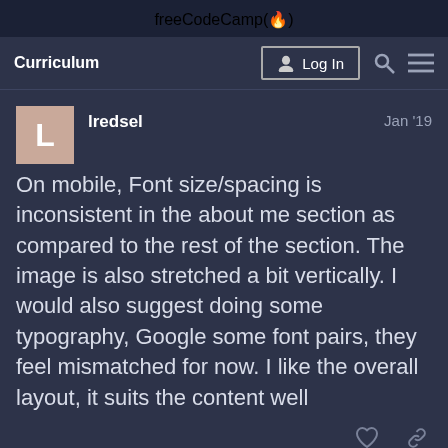freeCodeCamp(🔥)
Curriculum
lredsel  Jan '19
On mobile, Font size/spacing is inconsistent in the about me section as compared to the rest of the section. The image is also stretched a bit vertically. I would also suggest doing some typography, Google some font pairs, they feel mismatched for now. I like the overall layout, it suits the content well
2 YEARS LATER
1/3